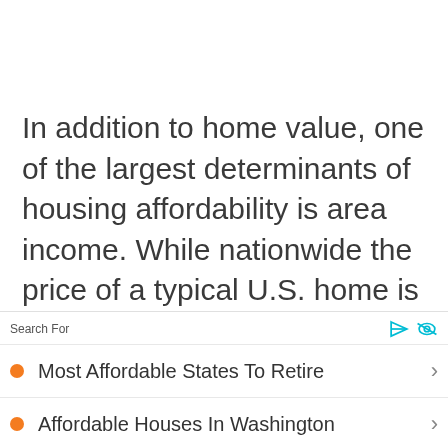In addition to home value, one of the largest determinants of housing affordability is area income. While nationwide the price of a typical U.S. home is 3.4 times the $60,293 U.S. median household income, housing affordability ratios range from approximately 1.0 in the least expensive cities to more than 10.0 in the country's most expensive
Search For
Most Affordable States To Retire
Affordable Houses In Washington